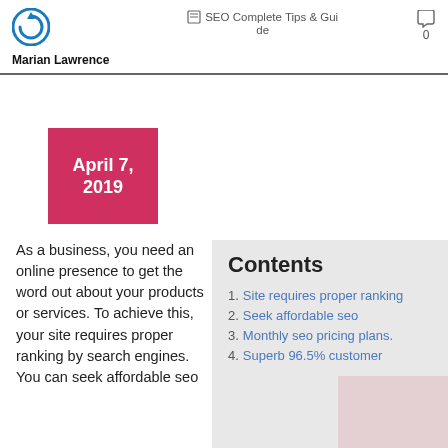Marian Lawrence | SEO Complete Tips & Guide | 0
[Figure (logo): Blue circular power/refresh icon logo]
Marian Lawrence
SEO Complete Tips & Guide
0
April 7, 2019
As a business, you need an online presence to get the word out about your products or services. To achieve this, your site requires proper ranking by search engines. You can seek affordable seo
Contents
1. Site requires proper ranking
2. Seek affordable seo
3. Monthly seo pricing plans.
4. Superb 96.5% customer